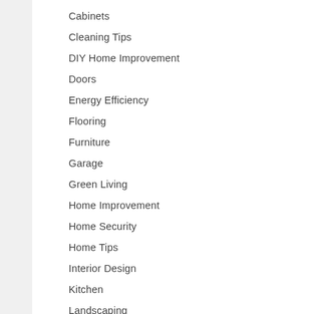Cabinets
Cleaning Tips
DIY Home Improvement
Doors
Energy Efficiency
Flooring
Furniture
Garage
Green Living
Home Improvement
Home Security
Home Tips
Interior Design
Kitchen
Landscaping
Lighting